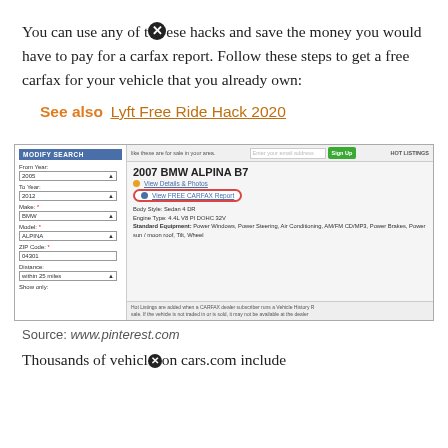You can use any of these hacks and save the money you would have to pay for a carfax report. Follow these steps to get a free carfax for your vehicle that you already own:
See also  Lyft Free Ride Hack 2020
[Figure (screenshot): Screenshot of a CARFAX/cars.com search interface showing a 2007 BMW ALPINA B7 listing with a 'View FREE CARFAX Report' button circled in red.]
Source: www.pinterest.com
Thousands of vehicles on cars.com include